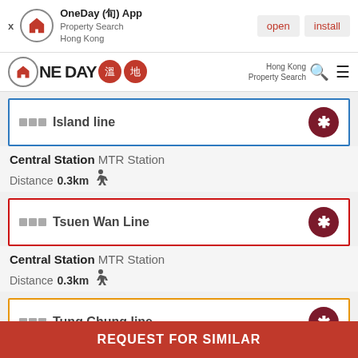[Figure (screenshot): App install banner for OneDay App - Property Search Hong Kong with open and install buttons]
[Figure (logo): OneDay property search app navigation bar with logo and Hong Kong Property Search text]
Island line
Central Station MTR Station Distance 0.3km
Tsuen Wan Line
Central Station MTR Station Distance 0.3km
Tung Chung line
Hong Kong Station MTR Station
REQUEST FOR SIMILAR